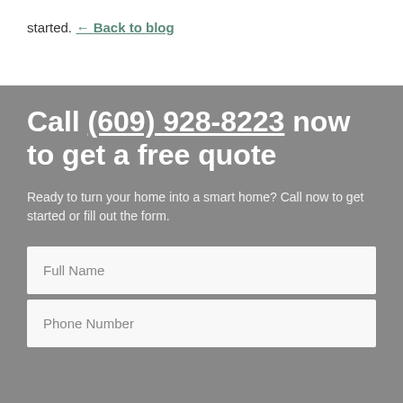started.
← Back to blog
Call (609) 928-8223 now to get a free quote
Ready to turn your home into a smart home? Call now to get started or fill out the form.
Full Name
Phone Number